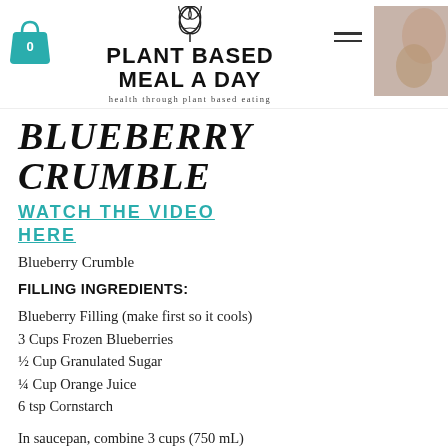Plant Based Meal A Day — health through plant based eating
BLUEBERRY CRUMBLE
WATCH THE VIDEO HERE
Blueberry Crumble
FILLING INGREDIENTS:
Blueberry Filling (make first so it cools)
3 Cups Frozen Blueberries
½ Cup Granulated Sugar
¼ Cup Orange Juice
6 tsp Cornstarch
In saucepan, combine 3 cups (750 mL) fresh or frozen blueberries, 1/2 cup (125